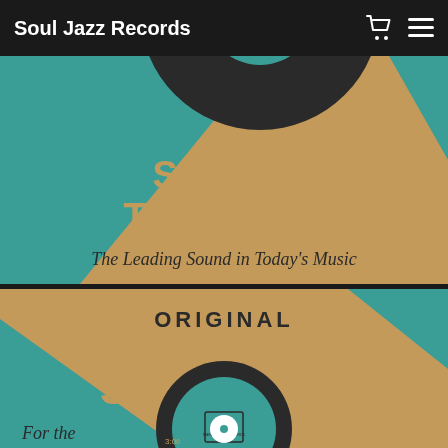Soul Jazz Records
[Figure (photo): Album artwork for 'Sounds of the Universe' showing a vinyl record with teal label reading 'AMEN, BROTHER / Arranged by The Winstons / THE WINSTONS / A Don Caswell Production', on a cardboard/kraft paper background with teal geometric design. Large text reads 'SOUNDS OF THE UNIVERSE' and below 'The Leading Sound in Today's Music']
[Figure (photo): Album artwork showing 'ORIGINAL SOUL' label record on kraft paper background with teal arc design. Shows a vinyl 45 record with teal Mainstream Records label showing '3:06' timing. Text at bottom reads 'For the' and 'STEREO']